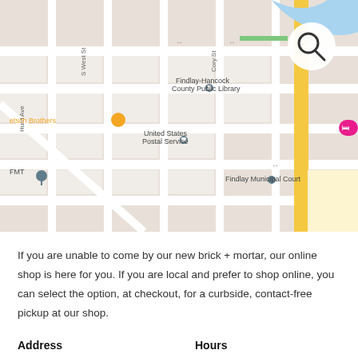[Figure (map): Google Maps screenshot showing downtown Findlay, Ohio area with landmarks including Findlay-Hancock County Public Library, United States Postal Service, Findlay Municipal Court, Rossilli's, The Gathering, LaRiche Chevrolet-Cadillac, and street names including S West St, Hurd Ave, E Front St. A search icon is visible in the upper right.]
If you are unable to come by our new brick + mortar, our online shop is here for you. If you are local and prefer to shop online, you can select the option, at checkout, for a curbside, contact-free pickup at our shop.
Address
Hours
212 west front street Findlay,
tuesday - saturday